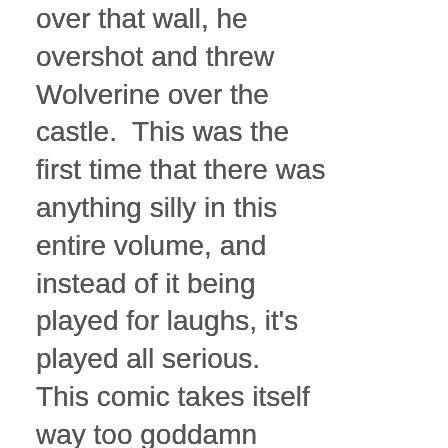over that wall, he overshot and threw Wolverine over the castle.  This was the first time that there was anything silly in this entire volume, and instead of it being played for laughs, it's played all serious.  This comic takes itself way too goddamn seriously.  Also, the tower?  Never falls down.
1:37PM:  My wife is home and I asked for more water and a sandwich.  She agreed, and is not angry or disappointed that I